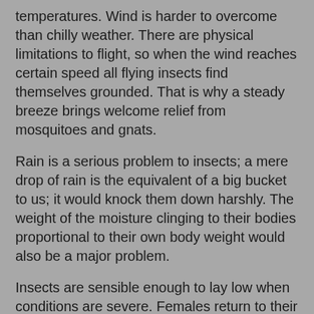temperatures. Wind is harder to overcome than chilly weather. There are physical limitations to flight, so when the wind reaches certain speed all flying insects find themselves grounded. That is why a steady breeze brings welcome relief from mosquitoes and gnats.
Rain is a serious problem to insects; a mere drop of rain is the equivalent of a big bucket to us; it would knock them down harshly. The weight of the moisture clinging to their bodies proportional to their own body weight would also be a major problem.
Insects are sensible enough to lay low when conditions are severe. Females return to their nests and stay there. Males, on the other hand, do not have nests to return to; they are not homemakers and know nothing about nests so they resort to a different kind of shelter. The males of many species seek each other company. They may stay in groups on flowers or leaves, or hanging from twigs. They clamp their strong jaws onto a twig and go to sleep this way. There are times in the early morning in which you can find one of these roosts. The insects may be dew covered and very sluggish